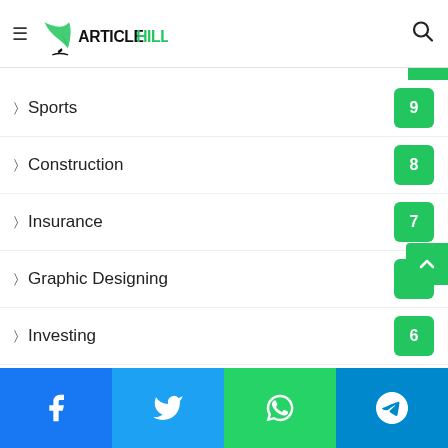ArticleHills
Sports 9
Construction 8
Insurance 7
Graphic Designing 7
Investing 6
Communications 6
Events 5
Self Improvement 3
Relationships 2
Facebook Twitter WhatsApp Telegram